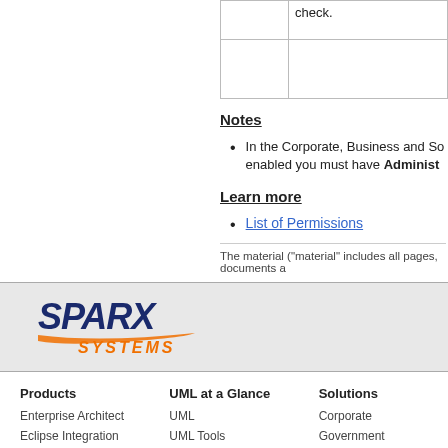|  | check. |
| --- | --- |
|  |  |
Notes
In the Corporate, Business and So... enabled you must have Administ...
Learn more
List of Permissions
The material ("material" includes all pages, documents a...
[Figure (logo): Sparx Systems logo with orange and dark blue text]
Products
Enterprise Architect
Eclipse Integration
Visual Studio Integration
SysML Technology
DDS Technology
DOORS Link
UML at a Glance
UML
UML Tools
PHP UML Modeling
Business Process Modeling
Model Driven Architecture
Requirements Management
Solutions
Corporate
Government
Small/Medium Enterprise
IT Professionals
Trainers
Academic